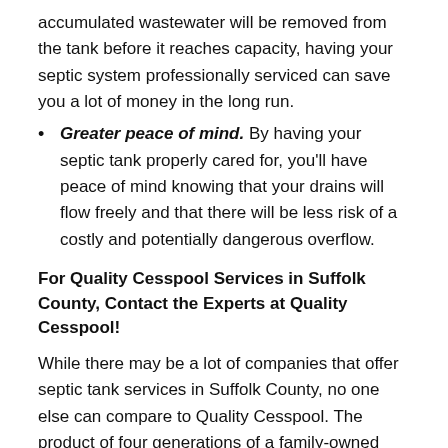accumulated wastewater will be removed from the tank before it reaches capacity, having your septic system professionally serviced can save you a lot of money in the long run.
Greater peace of mind. By having your septic tank properly cared for, you’ll have peace of mind knowing that your drains will flow freely and that there will be less risk of a costly and potentially dangerous overflow.
For Quality Cesspool Services in Suffolk County, Contact the Experts at Quality Cesspool!
While there may be a lot of companies that offer septic tank services in Suffolk County, no one else can compare to Quality Cesspool. The product of four generations of a family-owned and operated septic tank pumping, cleaning, maintenance, and installation services, Quality Cesspool has been keeping the septic systems of Stony Brook, NY property owners flowing freely for